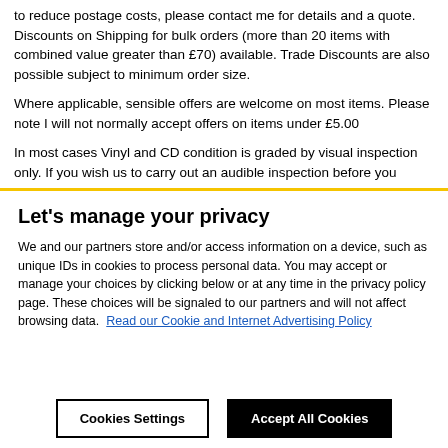to reduce postage costs, please contact me for details and a quote. Discounts on Shipping for bulk orders (more than 20 items with combined value greater than £70) available. Trade Discounts are also possible subject to minimum order size.
Where applicable, sensible offers are welcome on most items. Please note I will not normally accept offers on items under £5.00
In most cases Vinyl and CD condition is graded by visual inspection only. If you wish us to carry out an audible inspection before you purchase, please request this before ordering. I can send pictures of
Let's manage your privacy
We and our partners store and/or access information on a device, such as unique IDs in cookies to process personal data. You may accept or manage your choices by clicking below or at any time in the privacy policy page. These choices will be signaled to our partners and will not affect browsing data. Read our Cookie and Internet Advertising Policy